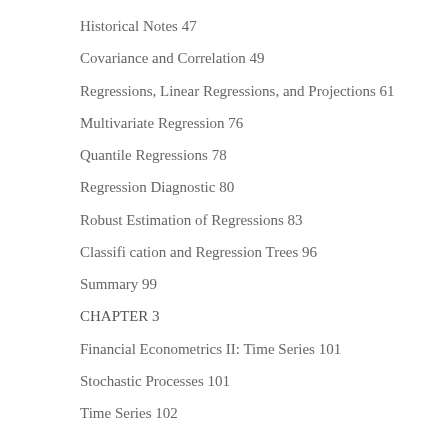Historical Notes 47
Covariance and Correlation 49
Regressions, Linear Regressions, and Projections 61
Multivariate Regression 76
Quantile Regressions 78
Regression Diagnostic 80
Robust Estimation of Regressions 83
Classification and Regression Trees 96
Summary 99
CHAPTER 3
Financial Econometrics II: Time Series 101
Stochastic Processes 101
Time Series 102